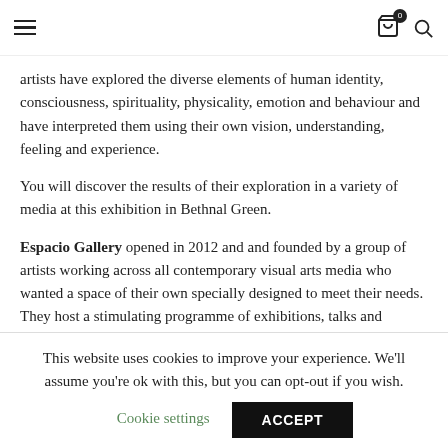≡  🛒 0  🔍
artists have explored the diverse elements of human identity, consciousness, spirituality, physicality, emotion and behaviour and have interpreted them using their own vision, understanding, feeling and experience.
You will discover the results of their exploration in a variety of media at this exhibition in Bethnal Green.
Espacio Gallery opened in 2012 and and founded by a group of artists working across all contemporary visual arts media who wanted a space of their own specially designed to meet their needs. They host a stimulating programme of exhibitions, talks and
This website uses cookies to improve your experience. We'll assume you're ok with this, but you can opt-out if you wish.
Cookie settings   ACCEPT